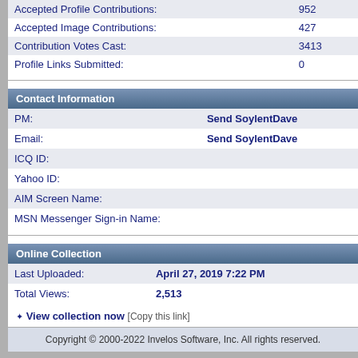| Label | Value |
| --- | --- |
| Accepted Profile Contributions: | 952 |
| Accepted Image Contributions: | 427 |
| Contribution Votes Cast: | 3413 |
| Profile Links Submitted: | 0 |
Contact Information
| Label | Value |
| --- | --- |
| PM: | Send SoylentDave |
| Email: | Send SoylentDave |
| ICQ ID: |  |
| Yahoo ID: |  |
| AIM Screen Name: |  |
| MSN Messenger Sign-in Name: |  |
Online Collection
| Label | Value |
| --- | --- |
| Last Uploaded: | April 27, 2019 7:22 PM |
| Total Views: | 2,513 |
❖ View collection now [Copy this link]
Copyright © 2000-2022 Invelos Software, Inc. All rights reserved.